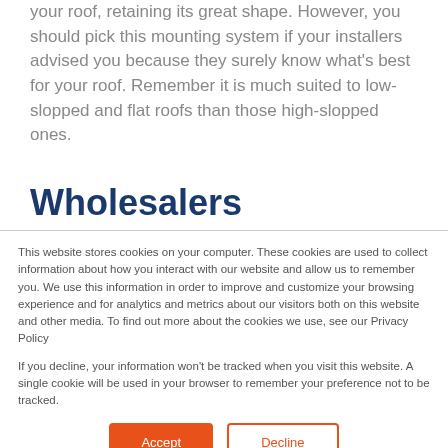your roof, retaining its great shape. However, you should pick this mounting system if your installers advised you because they surely know what's best for your roof. Remember it is much suited to low-slopped and flat roofs than those high-slopped ones.
Wholesalers
This website stores cookies on your computer. These cookies are used to collect information about how you interact with our website and allow us to remember you. We use this information in order to improve and customize your browsing experience and for analytics and metrics about our visitors both on this website and other media. To find out more about the cookies we use, see our Privacy Policy
If you decline, your information won't be tracked when you visit this website. A single cookie will be used in your browser to remember your preference not to be tracked.